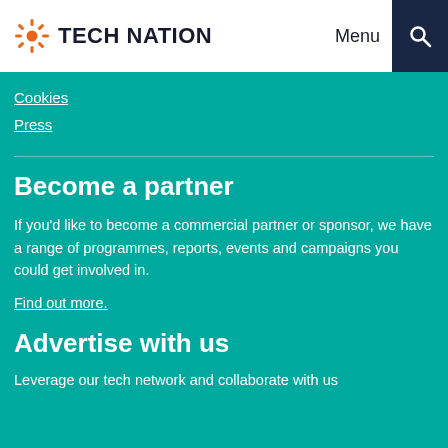TECH NATION | Menu
Cookies
Press
Become a partner
If you'd like to become a commercial partner or sponsor, we have a range of programmes, reports, events and campaigns you could get involved in.
Find out more.
Advertise with us
Leverage our tech network and collaborate with us